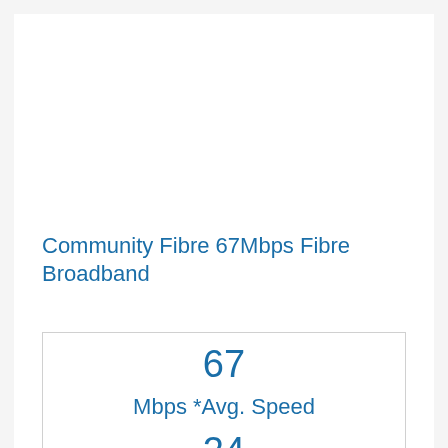Community Fibre 67Mbps Fibre Broadband
67
Mbps *Avg. Speed
24